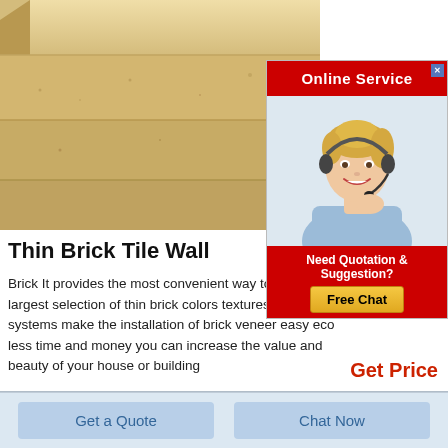[Figure (photo): Close-up photo of stacked thin brick tiles showing sandy/cream colored surface texture with layered arrangement]
[Figure (screenshot): Online Service popup widget with red header, female customer service agent with headset, 'Need Quotation & Suggestion?' text and 'Free Chat' button]
Thin Brick Tile Wall
Brick It provides the most convenient way to build your the largest selection of thin brick colors textures and si systems make the installation of brick veneer easy eco less time and money you can increase the value and beauty of your house or building
Get Price
Get a Quote
Chat Now